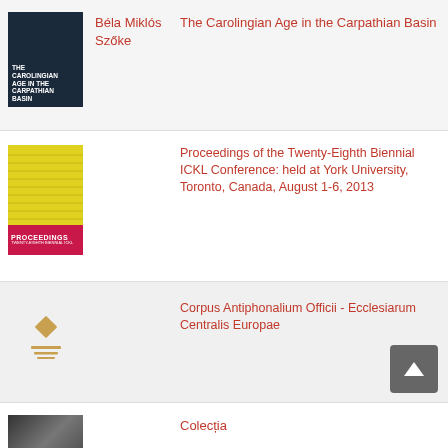[Figure (illustration): Book cover: The Carolingian Age in the Carpathian Basin, dark blue background with white title text]
Béla Miklós Szőke
The Carolingian Age in the Carpathian Basin
[Figure (illustration): Book cover: Proceedings, yellow top section with musical notation lines, pink/red bottom with PROCEEDINGS text]
Proceedings of the Twenty-Eighth Biennial ICKL Conference: held at York University, Toronto, Canada, August 1-6, 2013
[Figure (logo): Publisher logo with diamond/cross shape and horizontal lines below, in gold/amber color]
Corpus Antiphonalium Officii - Ecclesiarum Centralis Europae
[Figure (photo): Dark photographic book cover]
Colecția